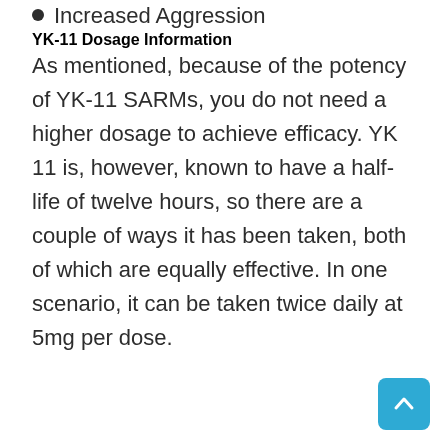Increased Aggression
YK-11 Dosage Information
As mentioned, because of the potency of YK-11 SARMs, you do not need a higher dosage to achieve efficacy. YK 11 is, however, known to have a half-life of twelve hours, so there are a couple of ways it has been taken, both of which are equally effective. In one scenario, it can be taken twice daily at 5mg per dose.